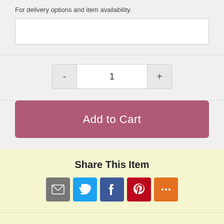For delivery options and item availability.
1
Add to Cart
Share This Item
[Figure (infographic): Social share icons: email (grey), Twitter (blue), Facebook (dark blue), Pinterest (red), More (orange)]
TRIPTIS MULTI COLLECTION